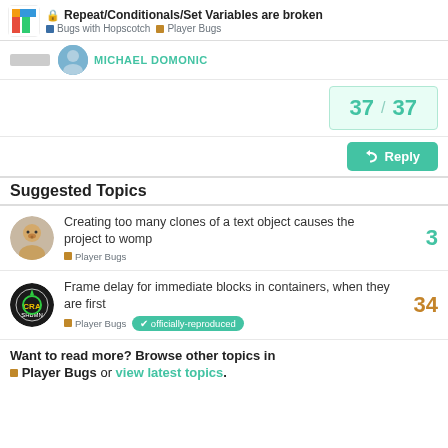🔒 Repeat/Conditionals/Set Variables are broken | Bugs with Hopscotch | Player Bugs
MICHAEL DOMONIC
37 / 37
Reply
Suggested Topics
Creating too many clones of a text object causes the project to womp — Player Bugs — 3
Frame delay for immediate blocks in containers, when they are first — Player Bugs — officially-reproduced — 34
Want to read more? Browse other topics in Player Bugs or view latest topics.